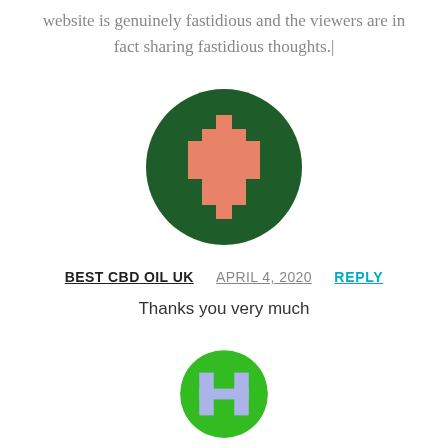website is genuinely fastidious and the viewers are in fact sharing fastidious thoughts.|
[Figure (illustration): Circular avatar with dark green background and a salmon/coral colored pixel-art cross/plus shape in the center]
BEST CBD OIL UK   APRIL 4, 2020   REPLY
Thanks you very much
[Figure (illustration): Circular avatar with bright green background and a light blue/periwinkle pixel-art H or goal-post shape in the center, partially cropped at bottom]